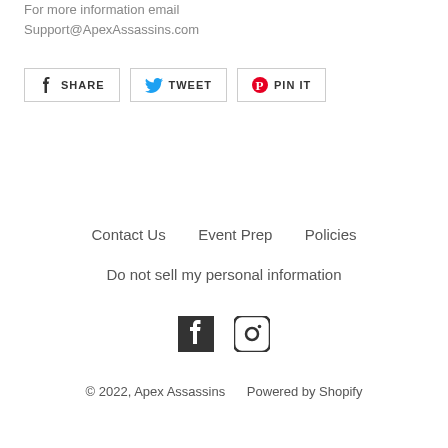For more information email Support@ApexAssassins.com
[Figure (other): Share buttons: Facebook Share, Twitter Tweet, Pinterest Pin It]
Contact Us   Event Prep   Policies
Do not sell my personal information
[Figure (other): Social media icons: Facebook and Instagram]
© 2022, Apex Assassins   Powered by Shopify